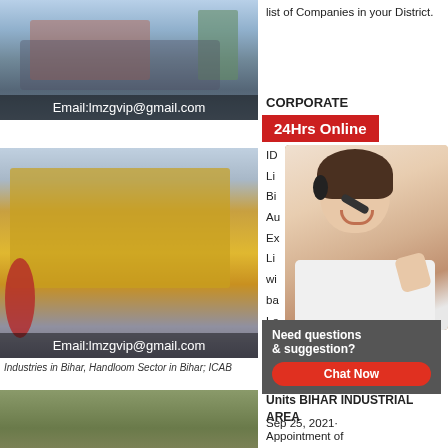[Figure (photo): Industrial machinery/crusher in factory setting with email overlay]
[Figure (photo): Large yellow industrial impact crusher machine in factory with email overlay]
Industries in Bihar, Handloom Sector in Bihar, ICAB
[Figure (photo): Mining/quarrying equipment and machinery outdoors with email overlay]
list of Companies in your District.
CORPORATE
[Figure (infographic): 24Hrs Online red banner with customer service representative wearing headset]
ID
Li
Bi
Au
Ex
Li
wi
ba
Le
[Figure (infographic): Need questions & suggestion? Chat Now popup box]
Li
Units BIHAR INDUSTRIAL AREA
Sep 25, 2021·
Appointment of
Project Management
Consultant for setting